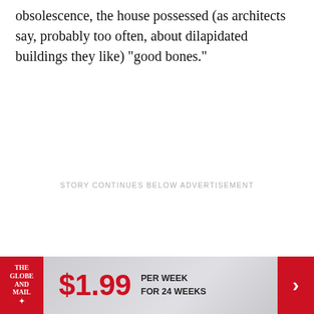obsolescence, the house possessed (as architects say, probably too often, about dilapidated buildings they like) "good bones."
STORY CONTINUES BELOW ADVERTISEMENT
[Figure (infographic): Globe and Mail advertisement banner: red logo on left with 'THE GLOBE AND MAIL' text, large red '$1.99' price text, 'PER WEEK FOR 24 WEEKS' text, and red arrow button on right.]